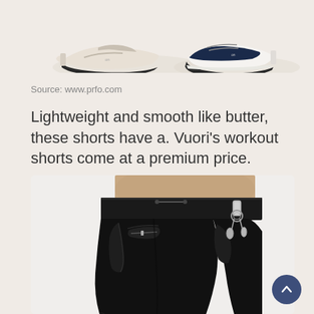[Figure (photo): Close-up of two sneakers from behind, one beige/white and one navy/white, against a light background]
Source: www.prfo.com
Lightweight and smooth like butter, these shorts have a. Vuori's workout shorts come at a premium price.
[Figure (photo): Person wearing black workout shorts, side view showing the waistband, pocket detail with zipper, and keys clipped to waistband, on a light background]